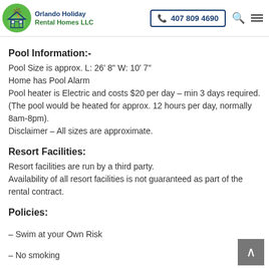Orlando Holiday Rental Homes LLC | 407 809 4690
Pool Information:-
Pool Size is approx. L: 26' 8" W: 10' 7"
Home has Pool Alarm
Pool heater is Electric and costs $20 per day – min 3 days required.
(The pool would be heated for approx. 12 hours per day, normally 8am-8pm).
Disclaimer – All sizes are approximate.
Resort Facilities:
Resort facilities are run by a third party.
Availability of all resort facilities is not guaranteed as part of the rental contract.
Policies:
– Swim at your Own Risk
– No smoking
– No pets allowed
– No events, parties or gatherings that disturb neighbours